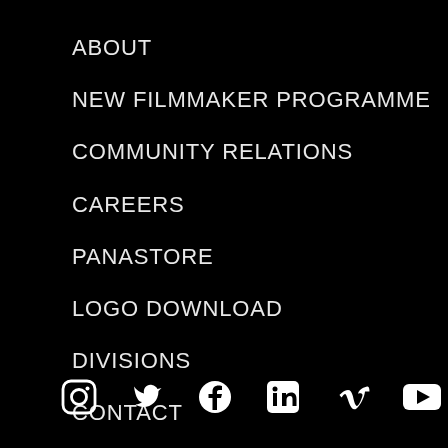ABOUT
NEW FILMMAKER PROGRAMME
COMMUNITY RELATIONS
CAREERS
PANASTORE
LOGO DOWNLOAD
DIVISIONS
CONTACT
[Figure (infographic): Social media icons row: Instagram, Twitter, Facebook, LinkedIn, Vimeo, YouTube]